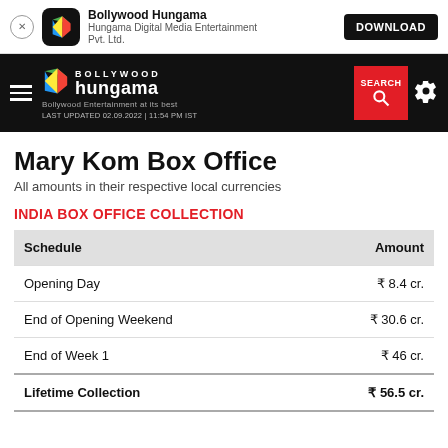[Figure (screenshot): App download banner for Bollywood Hungama app with icon, app name, publisher name, and DOWNLOAD button]
[Figure (screenshot): Bollywood Hungama website navigation bar with hamburger menu, logo, SEARCH button and settings gear icon. Shows LAST UPDATED 02.09.2022 | 11:54 PM IST]
Mary Kom Box Office
All amounts in their respective local currencies
INDIA BOX OFFICE COLLECTION
| Schedule | Amount |
| --- | --- |
| Opening Day | ₹ 8.4 cr. |
| End of Opening Weekend | ₹ 30.6 cr. |
| End of Week 1 | ₹ 46 cr. |
| Lifetime Collection | ₹ 56.5 cr. |